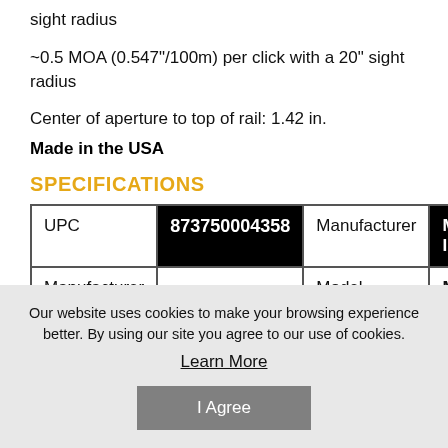sight radius
~0.5 MOA (0.547"/100m) per click with a 20" sight radius
Center of aperture to top of rail: 1.42 in.
Made in the USA
SPECIFICATIONS
| UPC | 873750004358 | Manufacturer | Ma... Ind... |
| --- | --- | --- | --- |
| Manufacturer | MAG248 | Model | MR... |
Our website uses cookies to make your browsing experience better. By using our site you agree to our use of cookies. Learn More I Agree